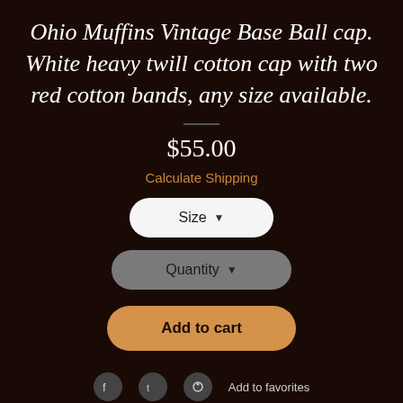Ohio Muffins Vintage Base Ball cap. White heavy twill cotton cap with two red cotton bands, any size available.
$55.00
Calculate Shipping
Size ▼
Quantity ▼
Add to cart